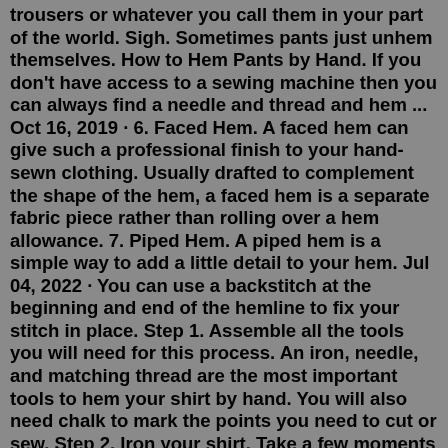trousers or whatever you call them in your part of the world. Sigh. Sometimes pants just unhem themselves. How to Hem Pants by Hand. If you don't have access to a sewing machine then you can always find a needle and thread and hem ... Oct 16, 2019 · 6. Faced Hem. A faced hem can give such a professional finish to your hand-sewn clothing. Usually drafted to complement the shape of the hem, a faced hem is a separate fabric piece rather than rolling over a hem allowance. 7. Piped Hem. A piped hem is a simple way to add a little detail to your hem. Jul 04, 2022 · You can use a backstitch at the beginning and end of the hemline to fix your stitch in place. Step 1. Assemble all the tools you will need for this process. An iron, needle, and matching thread are the most important tools to hem your shirt by hand. You will also need chalk to mark the points you need to cut or sew. Step 2. Iron your shirt. Take a few moments and get up to speed on the tips. Tip #1: One way to hem stretchy material like polyester and spandex is to use fusible tape. you can always sew a line of stitches after this